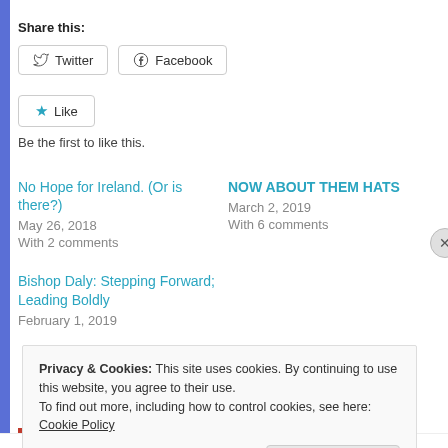Share this:
Twitter  Facebook
★ Like
Be the first to like this.
No Hope for Ireland. (Or is there?)
May 26, 2018
With 2 comments
NOW ABOUT THEM HATS
March 2, 2019
With 6 comments
Bishop Daly: Stepping Forward; Leading Boldly
February 1, 2019
Privacy & Cookies: This site uses cookies. By continuing to use this website, you agree to their use.
To find out more, including how to control cookies, see here: Cookie Policy
Close and accept